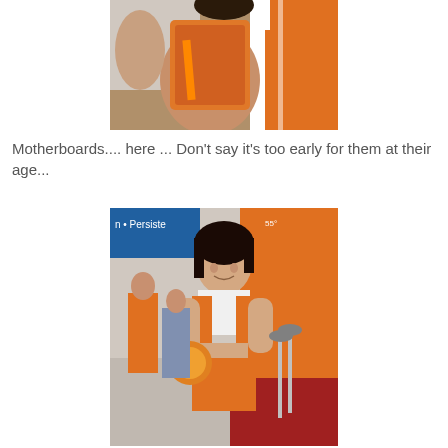[Figure (photo): Close-up photo of people in orange and white outfits at what appears to be a trade show or exhibition, showing torsos/arms from behind]
Motherboards.... here ... Don't say it's too early for them at their age...
[Figure (photo): Photo of a smiling young woman in an orange and white promotional outfit holding materials at a trade show booth with signs reading 'Persiste' visible in the background]